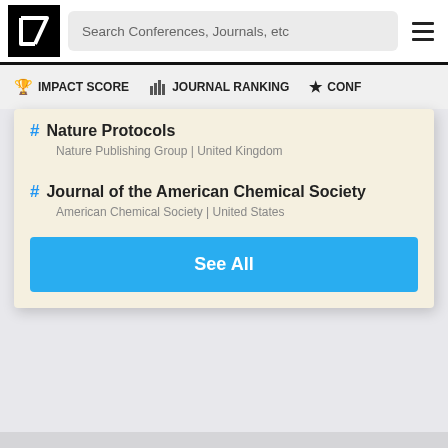Search Conferences, Journals, etc
IMPACT SCORE | JOURNAL RANKING | CONF
# Nature Protocols
Nature Publishing Group | United Kingdom
# Journal of the American Chemical Society
American Chemical Society | United States
See All